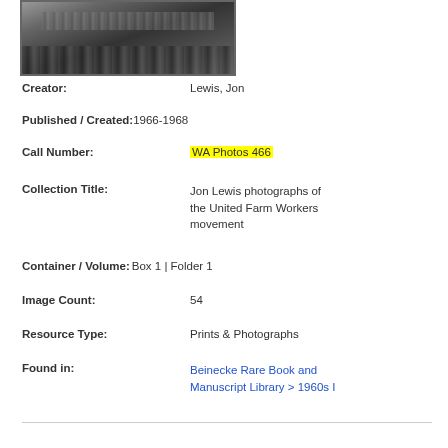[Figure (photo): Black and white photograph showing a crowd of people in a field, partial view at top of page]
Creator: Lewis, Jon
Published / Created: 1966-1968
Call Number: WA Photos 466
Collection Title: Jon Lewis photographs of the United Farm Workers movement
Container / Volume: Box 1 | Folder 1
Image Count: 54
Resource Type: Prints & Photographs
Found in: Beinecke Rare Book and Manuscript Library > 1960s I